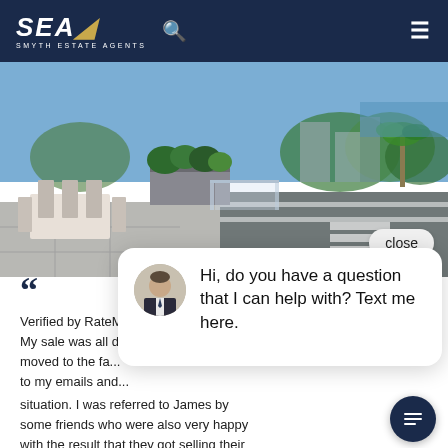SEA SMYTH ESTATE AGENTS
[Figure (photo): Rooftop terrace/balcony of a property with outdoor furniture, lush greenery, glass balustrade, and street view in background with trees and buildings under blue sky.]
close
[Figure (photo): Chat popup with real estate agent avatar photo (man in suit) and message: Hi, do you have a question that I can help with? Text me here.]
Hi, do you have a question that I can help with? Text me here.
““ Verified by RateM... My sale was all d... moved to the fa... to my emails and... situation. I was referred to James by some friends who were also very happy with the result that they got selling their unit! Similarly I was very pleased when $100,000 more than what I was looking for! Thanks James!